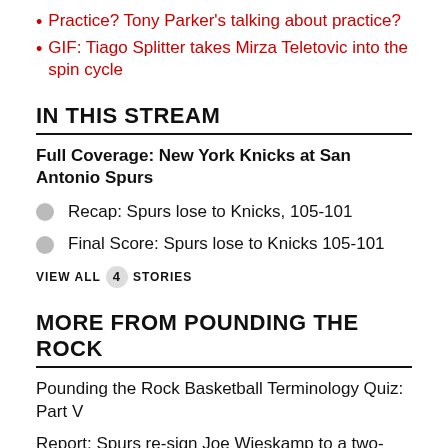Practice? Tony Parker's talking about practice?
GIF: Tiago Splitter takes Mirza Teletovic into the spin cycle
IN THIS STREAM
Full Coverage: New York Knicks at San Antonio Spurs
Recap: Spurs lose to Knicks, 105-101
Final Score: Spurs lose to Knicks 105-101
VIEW ALL 4 STORIES
MORE FROM POUNDING THE ROCK
Pounding the Rock Basketball Terminology Quiz: Part V
Report: Spurs re-sign Joe Wieskamp to a two-year, $4.4 million contract
Open Thread: Happy birthday to both Devin Vassell and Joel Wieskamp